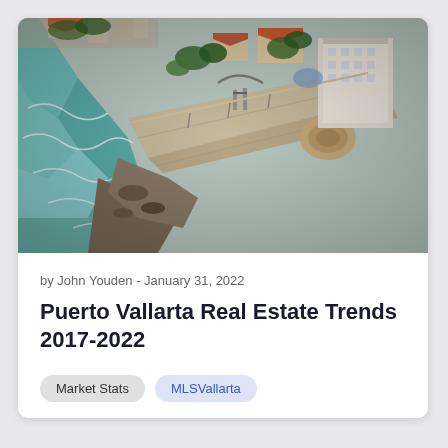[Figure (photo): Aerial drone view of Puerto Vallarta coastline showing the Malecon boardwalk, beach, ocean waves, buildings, palm trees, and a large circular sculpture/monument near the waterfront.]
by John Youden - January 31, 2022
Puerto Vallarta Real Estate Trends 2017-2022
Market Stats
MLSVallarta